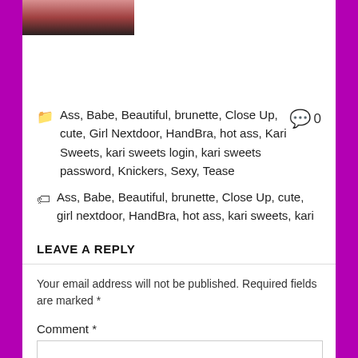[Figure (photo): Partial photo of a woman with red/dark hair, cropped at top]
📁 Ass, Babe, Beautiful, brunette, Close Up, cute, Girl Nextdoor, HandBra, hot ass, Kari Sweets, kari sweets login, kari sweets password, Knickers, Sexy, Tease  💬 0
🏷 Ass, Babe, Beautiful, brunette, Close Up, cute, girl nextdoor, HandBra, hot ass, kari sweets, kari sweets login, kari sweets password, Knickers, pajamas, pigtails, Sexy, Tease
LEAVE A REPLY
Your email address will not be published. Required fields are marked *
Comment *